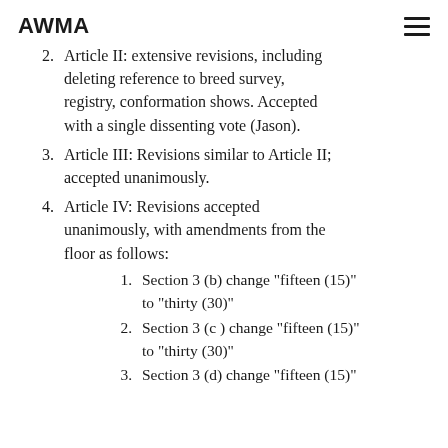AWMA
2. Article II: extensive revisions, including deleting reference to breed survey, registry, conformation shows. Accepted with a single dissenting vote (Jason).
3. Article III: Revisions similar to Article II; accepted unanimously.
4. Article IV: Revisions accepted unanimously, with amendments from the floor as follows:
1. Section 3 (b) change "fifteen (15)" to "thirty (30)"
2. Section 3 (c ) change "fifteen (15)" to "thirty (30)"
3. Section 3 (d) change "fifteen (15)"